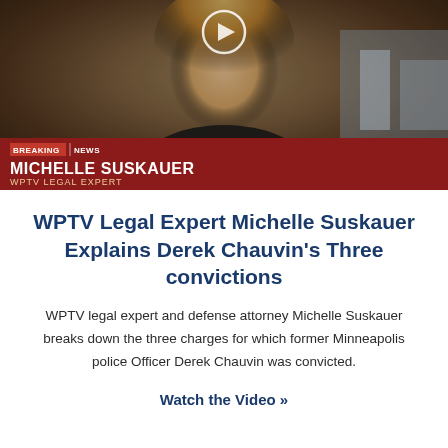[Figure (screenshot): TV news screenshot showing Michelle Suskauer on WPTV with a lower-third chyron reading BREAKING NEWS / MICHELLE SUSKAUER / WPTV LEGAL EXPERT and a play button overlay]
WPTV Legal Expert Michelle Suskauer Explains Derek Chauvin's Three convictions
WPTV legal expert and defense attorney Michelle Suskauer breaks down the three charges for which former Minneapolis police Officer Derek Chauvin was convicted.
Watch the Video »